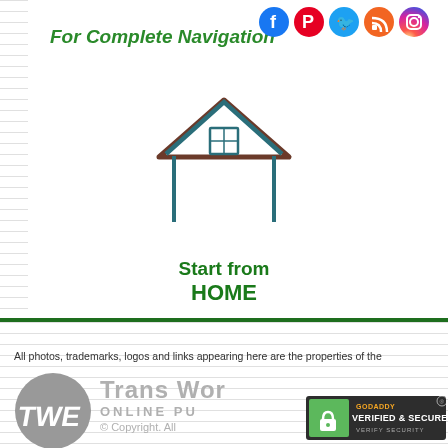[Figure (illustration): Social media icons row: Facebook (blue), Pinterest (red), Twitter (blue), RSS (orange), Instagram (gradient)]
For Complete Navigation
[Figure (illustration): House/home icon with brown roof peak and teal outline walls and window]
Start from HOME
All photos, trademarks, logos and links appearing here are the properties of the
[Figure (logo): TWE Trans World Online Publishing circular gray logo with stylized TWE text]
Trans Wor
ONLINE PU
© Copyright. All
[Figure (logo): GoDaddy Verified & Secured badge]